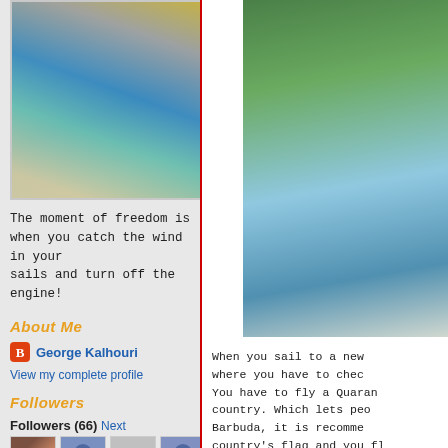[Figure (photo): Photo taken from the deck of a sailboat showing the bow cutting through ocean waves, with rigging and sails visible, turquoise/blue water churning]
The moment of freedom is when you catch the wind in your sails and turn off the engine!
About Me
George Kalhouri
View my complete profile
Followers
Followers (66) Next
[Figure (photo): Coastal scene with green hills, blue water, and a marina/dock area visible]
When you sail to a new where you have to chec You have to fly a Quaran country. Which lets peo Barbuda, it is recomme country's flag and you f about their check-in law experience with Immigr